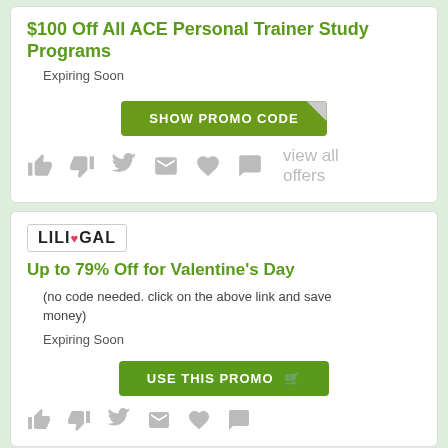$100 Off All ACE Personal Trainer Study Programs
Expiring Soon
[Figure (other): SHOW PROMO CODE button with folded corner]
[Figure (infographic): Social share icons: thumbs up, thumbs down, Twitter bird, envelope, heart, speech bubble, and 'view all offers' text]
[Figure (logo): LILIGAL logo with heart symbol in a bordered box]
Up to 79% Off for Valentine's Day
(no code needed. click on the above link and save money)
Expiring Soon
[Figure (other): USE THIS PROMO button with cart icon]
[Figure (infographic): Social share icons row at bottom (partially visible)]